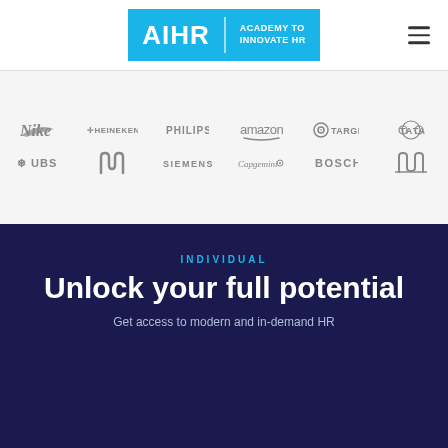[Figure (logo): AIHR Academy to Innovate HR logo — cyan/blue rectangle with white text]
[Figure (infographic): Grid of company logos: Nike, Heineken, Philips, Amazon, Target, Tata, UBS, McDonald's, Siemens, Capgemini, Bosch, Under Armour]
INDIVIDUAL
Unlock your full potential
Get access to modern and in-demand HR